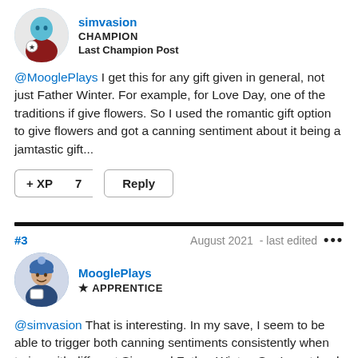[Figure (illustration): Avatar of user simvasion - animated Sims character, blue/teal head with dark red clothing and a star badge]
simvasion
CHAMPION
Last Champion Post
@MooglePlays I get this for any gift given in general, not just Father Winter. For example, for Love Day, one of the traditions if give flowers. So I used the romantic gift option to give flowers and got a canning sentiment about it being a jamtastic gift...
+ XP  7    Reply
#3    August 2021    - last edited  •••
[Figure (illustration): Avatar of user MooglePlays - animated Sims character with blue winter hat]
MooglePlays
★ APPRENTICE
@simvasion That is interesting. In my save, I seem to be able to trigger both canning sentiments consistently when trying with different Sims and Father Winter. So, I went back in-game to test out